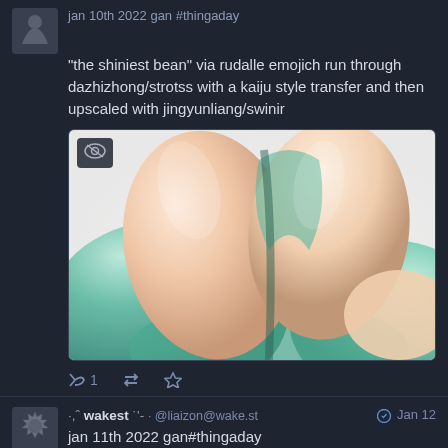jan 10th 2022 gan #thingaday
"the shiniest bean" via rudalle emojich run through dazhizhong/strotss with a kaiju style transfer and then upscaled  with jingyunliang/swinir
[Figure (photo): Close-up AI-generated image of large shiny bean-like shapes with teal/green glossy outer layer and pale peach/cream inner surfaces, styled like a kaiju figurine]
1 retweet/reply/star action row
·,ˆ wakest ˙'- @liaizon@wake.st Jan 12
jan 11th 2022 gan#thingaday
trained looking glass on images of kaiju figurines and have been running it since last night, this one